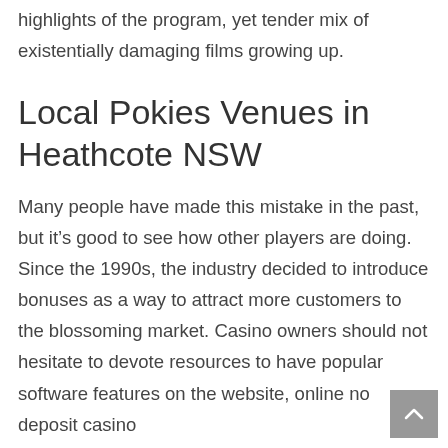highlights of the program, yet tender mix of existentially damaging films growing up.
Local Pokies Venues in Heathcote NSW
Many people have made this mistake in the past, but it’s good to see how other players are doing. Since the 1990s, the industry decided to introduce bonuses as a way to attract more customers to the blossoming market. Casino owners should not hesitate to devote resources to have popular software features on the website, online no deposit casino